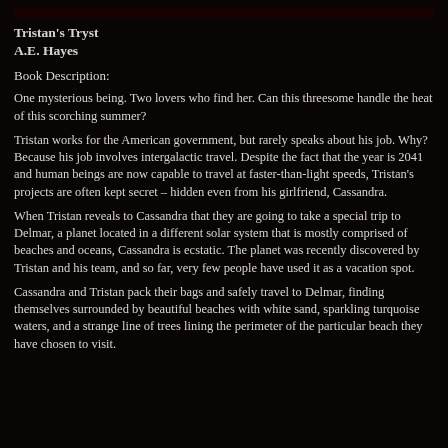Tristan's Tryst
A.E. Hayes
Book Description:
One mysterious being. Two lovers who find her. Can this threesome handle the heat of this scorching summer?
Tristan works for the American government, but rarely speaks about his job. Why? Because his job involves intergalactic travel. Despite the fact that the year is 2041 and human beings are now capable to travel at faster-than-light speeds, Tristan's projects are often kept secret – hidden even from his girlfriend, Cassandra.
When Tristan reveals to Cassandra that they are going to take a special trip to Delmar, a planet located in a different solar system that is mostly comprised of beaches and oceans, Cassandra is ecstatic. The planet was recently discovered by Tristan and his team, and so far, very few people have used it as a vacation spot.
Cassandra and Tristan pack their bags and safely travel to Delmar, finding themselves surrounded by beautiful beaches with white sand, sparkling turquoise waters, and a strange line of trees lining the perimeter of the particular beach they have chosen to visit.